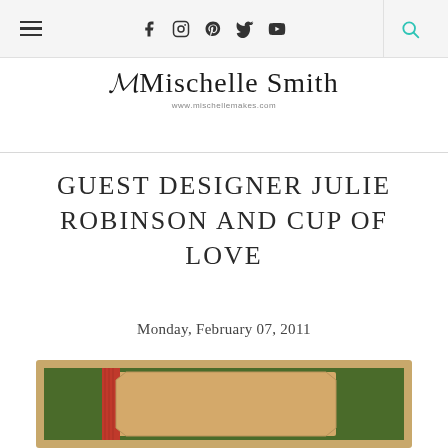Navigation bar with hamburger menu, social icons (Facebook, Instagram, Pinterest, Twitter, YouTube), and search icon
[Figure (logo): Mischelle Smith cursive logo with URL www.mischellemakes.com]
GUEST DESIGNER JULIE ROBINSON AND CUP OF LOVE
Monday, February 07, 2011
[Figure (photo): Handmade card with green cardstock background, red ribbon, and tan label panel with decorative corners, framed in gold/kraft border]